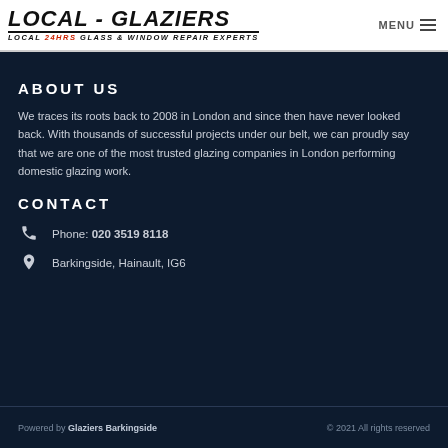LOCAL - GLAZIERS | LOCAL 24HRS GLASS & WINDOW REPAIR EXPERTS | MENU
ABOUT US
We traces its roots back to 2008 in London and since then have never looked back. With thousands of successful projects under our belt, we can proudly say that we are one of the most trusted glazing companies in London performing domestic glazing work.
CONTACT
Phone: 020 3519 8118
Barkingside, Hainault, IG6
Powered by Glaziers Barkingside | © 2021 All rights reserved